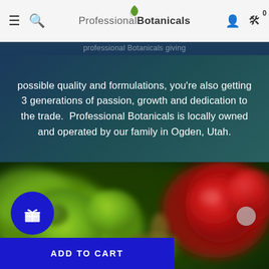Professional Botanicals
possible quality and formulations, you're also getting 3 generations of passion, growth and dedication to the trade.  Professional Botanicals is locally owned and operated by our family in Ogden, Utah.
[Figure (photo): Blurry close-up photo of green and red botanical fruits/berries on a plant]
ADD TO CART